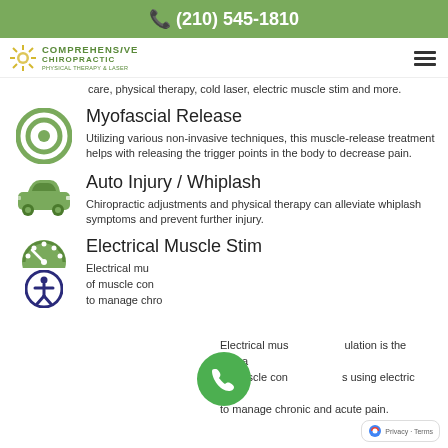(210) 545-1810
[Figure (logo): Comprehensive Chiropractic Physical Therapy & Laser logo with sunburst icon]
care, physical therapy, cold laser, electric muscle stim and more.
[Figure (illustration): Green circular target/bullseye icon representing Myofascial Release]
Myofascial Release
Utilizing various non-invasive techniques, this muscle-release treatment helps with releasing the trigger points in the body to decrease pain.
[Figure (illustration): Green car/vehicle icon representing Auto Injury / Whiplash]
Auto Injury / Whiplash
Chiropractic adjustments and physical therapy can alleviate whiplash symptoms and prevent further injury.
[Figure (illustration): Green gauge/speedometer icon and accessibility icon representing Electrical Muscle Stim]
Electrical Muscle Stim
Electrical muscle stimulation is the utilization of muscle contractions using electric impulses to manage chronic and acute pain.